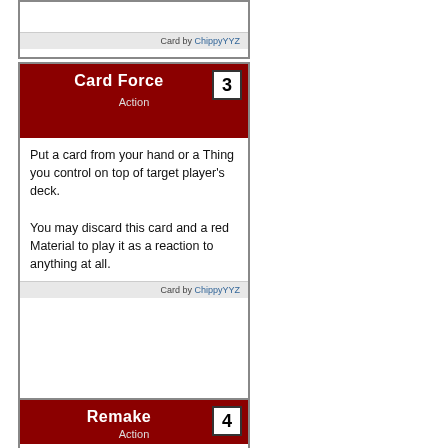Card by ChippyYYZ
Card Force
Action
Put a card from your hand or a Thing you control on top of target player's deck.
You may discard this card and a red Material to play it as a reaction to anything at all.
Card by ChippyYYZ
Remake
Action
Trash a card in your hand. You may